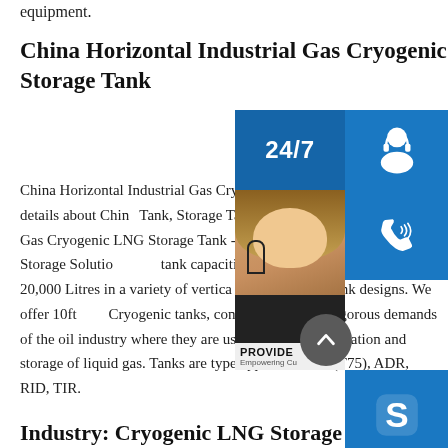equipment.
China Horizontal Industrial Gas Cryogenic LNG Storage Tank
China Horizontal Industrial Gas Cryogenic LNG Storage Tank, Find details about China Tank, Storage Tank from Horizontal Industrial Gas Cryogenic LNG Storage Tank - Provide for Fluid Handling & Storage Solutions. Our tank capacities range from 1,100 Litres to 20,000 Litres in a variety of vertical and horizontal tank designs. We offer 10ft ISO Cryogenic tanks, constructed for the rigorous demands of the oil industry where they are used for the transportation and storage of liquid gas. Tanks are type approved IMO (T75), ADR, RID, TIR.
Industry: Cryogenic LNG Storage
[Figure (infographic): Customer support widget overlay with 24/7 chat badge, headset icon, phone icon, Skype icon, woman photo, PROVIDE Empowering Customers text, and online live button]